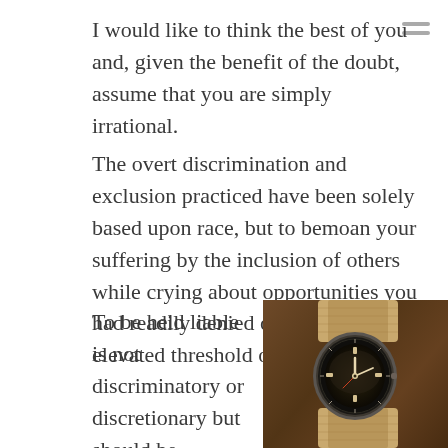I would like to think the best of you and, given the benefit of the doubt, assume that you are simply irrational.
The overt discrimination and exclusion practiced have been solely based upon race, but to bemoan your suffering by the inclusion of others while crying about opportunities you had readily denied others exceeds an elevated threshold of irrationality.
To be held liable is not discriminatory or discretionary but should be expected. Cancel culture cannot be used for absolution to ignore your culpability granting blanket immunity oblivious to your actions.
[Figure (photo): A vintage wristwatch with a dark dial on a tan/khaki NATO-style fabric strap, photographed on a brown wooden surface.]